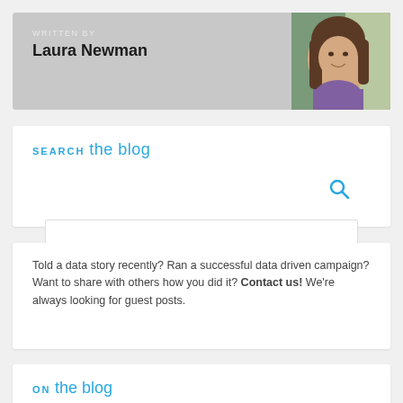WRITTEN BY
Laura Newman
[Figure (photo): Headshot photo of Laura Newman, a young woman with long brown hair, smiling]
SEARCH the blog
[Figure (other): Search input box with magnifying glass icon]
Told a data story recently? Ran a successful data driven campaign? Want to share with others how you did it? Contact us! We're always looking for guest posts.
ON the blog